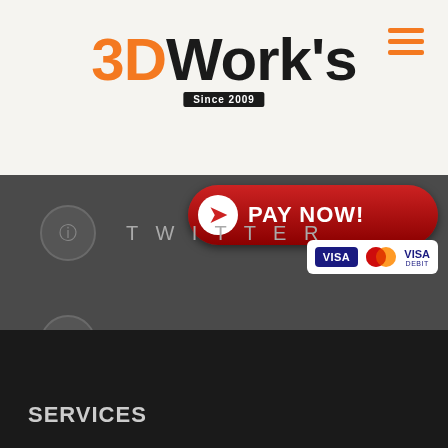[Figure (logo): 3DWork's logo with orange '3D' and black 'Work's' text, 'Since 2009' badge below]
[Figure (illustration): Hamburger menu icon with three orange horizontal lines]
[Figure (illustration): Red PAY NOW! button with white circle arrow icon]
[Figure (illustration): Payment card icons: VISA, Mastercard, VISA DEBIT]
TWITTER
LINKEDIN
GOOGLE PLUS
SERVICES